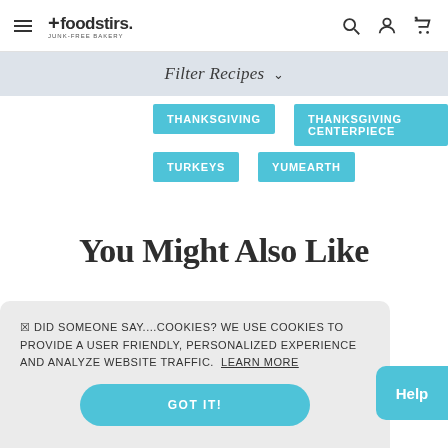foodstirs JUNK-FREE BAKERY
Filter Recipes
THANKSGIVING
THANKSGIVING CENTERPIECE
TURKEYS
YUMEARTH
You Might Also Like
☒ DID SOMEONE SAY....COOKIES? WE USE COOKIES TO PROVIDE A USER FRIENDLY, PERSONALIZED EXPERIENCE AND ANALYZE WEBSITE TRAFFIC. LEARN MORE
GOT IT!
Help